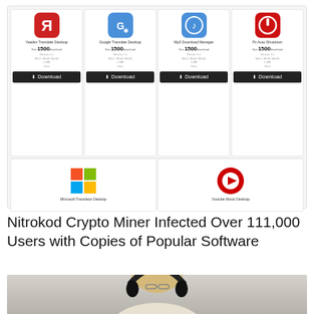[Figure (screenshot): Screenshot of a software download website showing app cards: Yandex Translate Desktop, Google Translate Desktop, Mp3 Download Manager, Pc Auto Shutdown (top row), Microsoft Translator Desktop and Youtube Music Desktop (bottom row). Each card shows app icon, name, price (son 1500), version 1.1, Win7/Win8/Win10, 1MB, Free, and a Download button.]
Nitrokod Crypto Miner Infected Over 111,000 Users with Copies of Popular Software
[Figure (photo): Photo of a woman with blonde hair wearing black headphones and glasses, sitting in front of a computer, with a light gray background.]